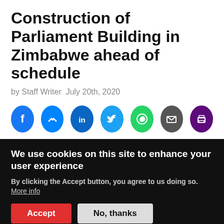Construction of Parliament Building in Zimbabwe ahead of schedule
by Staff Writer  July 20th, 2020
[Figure (infographic): Social sharing icons: Facebook, Messenger, LinkedIn, Twitter, WhatsApp, Email, Print]
Construction of Zimbabwe's new parliament building in Harare is ahead of schedule, with structural works now 100% complete. Outstanding works include internal & external
We use cookies on this site to enhance your user experience
By clicking the Accept button, you agree to us doing so. More info
Accept
No, thanks